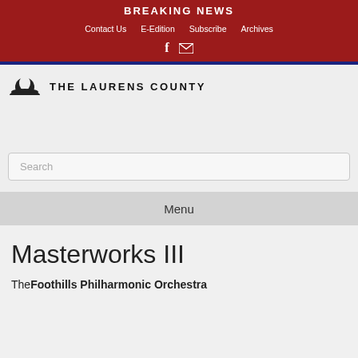BREAKING NEWS
Contact Us   E-Edition   Subscribe   Archives
[Figure (logo): The Laurens County newspaper logo with hat icon and bold uppercase text THE LAURENS COUNTY]
Search
Menu
Masterworks III
The Foothills Philharmonic Orchestra